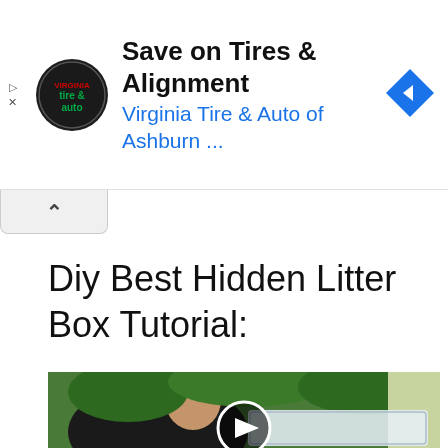[Figure (screenshot): Advertisement banner: Virginia Tire & Auto of Ashburn with logo, title 'Save on Tires & Alignment', subtitle 'Virginia Tire & Auto of Ashburn ...', navigation arrow icon, play and close icons on left]
[Figure (screenshot): Collapsed UI tab with an upward chevron (^) arrow]
Diy Best Hidden Litter Box Tutorial:
[Figure (photo): Video thumbnail showing a woman looking up at the camera, surrounded by green ferns, holding/working with a clear plastic container outdoors. A play button overlay is visible in the center-bottom area.]